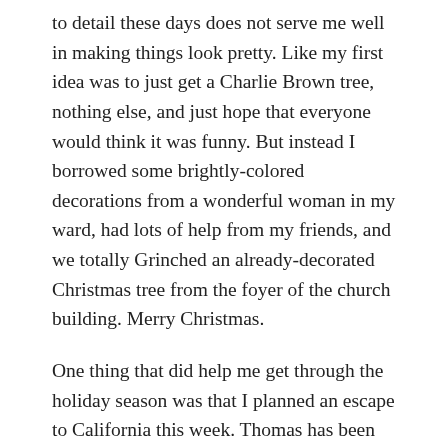to detail these days does not serve me well in making things look pretty. Like my first idea was to just get a Charlie Brown tree, nothing else, and just hope that everyone would think it was funny. But instead I borrowed some brightly-colored decorations from a wonderful woman in my ward, had lots of help from my friends, and we totally Grinched an already-decorated Christmas tree from the foyer of the church building. Merry Christmas.
One thing that did help me get through the holiday season was that I planned an escape to California this week. Thomas has been begging to go to the beach since like September and I figured it would be just what we all needed. We spent all afternoon today at the beach, building sand castles and standing near the water, waiting for the waves to crash over our feet. Then